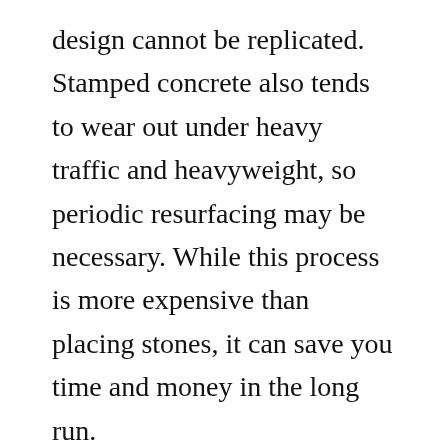design cannot be replicated. Stamped concrete also tends to wear out under heavy traffic and heavyweight, so periodic resurfacing may be necessary. While this process is more expensive than placing stones, it can save you time and money in the long run.
You can create virtually unlimited patterns and colors with Stamped Concrete. Most people take inspiration from their surrounding landscape or home's architectural style and